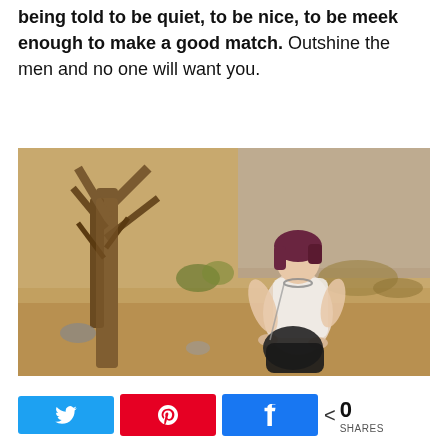being told to be quiet, to be nice, to be meek enough to make a good match. Outshine the men and no one will want you.
[Figure (photo): A woman with reddish-purple hair wearing a white sleeveless top and black pants, kneeling on dry desert ground next to a bare gnarled tree, in an outdoor desert setting with dry vegetation and a fence in the background.]
< 0 SHARES